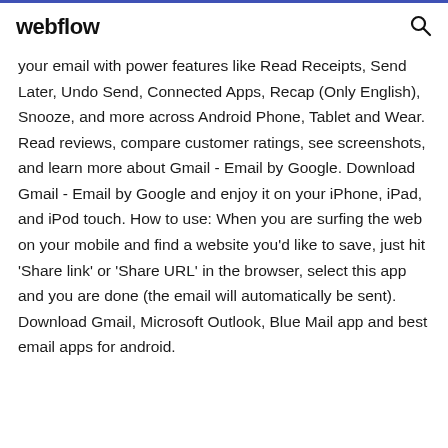webflow
your email with power features like Read Receipts, Send Later, Undo Send, Connected Apps, Recap (Only English), Snooze, and more across Android Phone, Tablet and Wear. Read reviews, compare customer ratings, see screenshots, and learn more about Gmail - Email by Google. Download Gmail - Email by Google and enjoy it on your iPhone, iPad, and iPod touch. How to use: When you are surfing the web on your mobile and find a website you'd like to save, just hit 'Share link' or 'Share URL' in the browser, select this app and you are done (the email will automatically be sent). Download Gmail, Microsoft Outlook, Blue Mail app and best email apps for android.